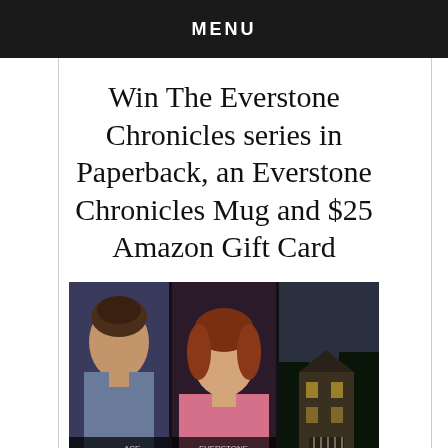MENU
Win The Everstone Chronicles series in Paperback, an Everstone Chronicles Mug and $25 Amazon Gift Card
[Figure (photo): Book covers of The Everstone Chronicles series showing three illustrated covers with women in period dress and a dark mansion, partially cropped at the bottom of the page.]